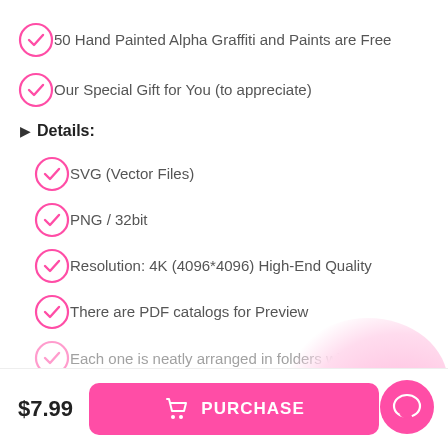50 Hand Painted Alpha Graffiti and Paints are Free
Our Special Gift for You (to appreciate)
Details:
SVG (Vector Files)
PNG / 32bit
Resolution: 4K (4096*4096) High-End Quality
There are PDF catalogs for Preview
Each one is neatly arranged in folders with our
$7.99
PURCHASE